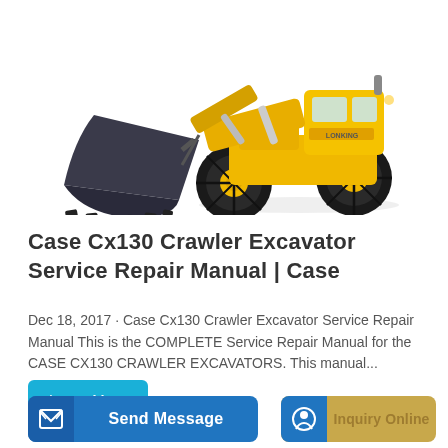[Figure (photo): Yellow wheel loader / front-end loader with large black bucket attachment and black tires, shown against a white background]
Case Cx130 Crawler Excavator Service Repair Manual | Case
Dec 18, 2017 · Case Cx130 Crawler Excavator Service Repair Manual This is the COMPLETE Service Repair Manual for the CASE CX130 CRAWLER EXCAVATORS. This manual...
Learn More
Send Message
Inquiry Online